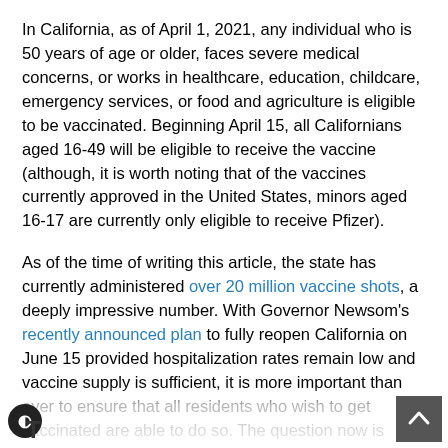In California, as of April 1, 2021, any individual who is 50 years of age or older, faces severe medical concerns, or works in healthcare, education, childcare, emergency services, or food and agriculture is eligible to be vaccinated. Beginning April 15, all Californians aged 16-49 will be eligible to receive the vaccine (although, it is worth noting that of the vaccines currently approved in the United States, minors aged 16-17 are currently only eligible to receive Pfizer).
As of the time of writing this article, the state has currently administered over 20 million vaccine shots, a deeply impressive number. With Governor Newsom's recently announced plan to fully reopen California on June 15 provided hospitalization rates remain low and vaccine supply is sufficient, it is more important than ever to ensure that all residents who wish to get vaccinated are able to do so. The question now is when, not if, California's most vulnerable communities will receive these protections.
On April 7, 2021, the California government's official COVID-19 website stated that 31.7% of White, 22.3% of Latino, 13.3% of Asian-American, 3.3% of Black and 0.3% of American Indian residents in the state have received at least a first dose of a